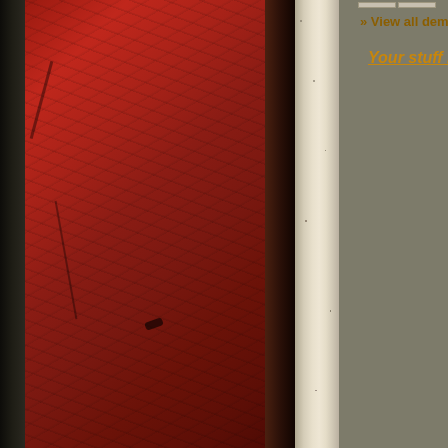[Figure (screenshot): Website screenshot showing a music-related webpage with textured red and dark left panel, gray center column, white separators, and right column with links and info. Visible text includes '» View all demo tapes', 'Your stuff here ?', '» More photos of Cana...', 'CANAAN related flyers:', '» Total : 1440'.]
» View all demo tapes
Your stuff here ?
» More photos of Cana...
CANAAN related flyers:
» Total : 1440